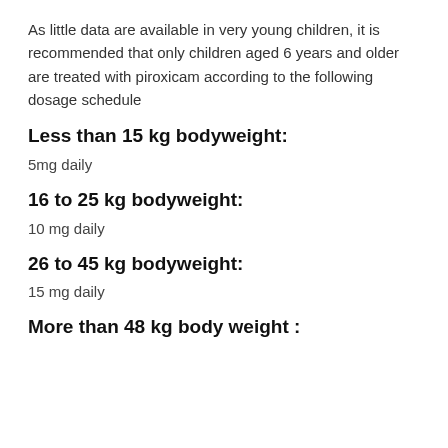As little data are available in very young children, it is recommended that only children aged 6 years and older are treated with piroxicam according to the following dosage schedule
Less than 15 kg bodyweight:
5mg daily
16 to 25 kg bodyweight:
10 mg daily
26 to 45 kg bodyweight:
15 mg daily
More than 48 kg body weight :